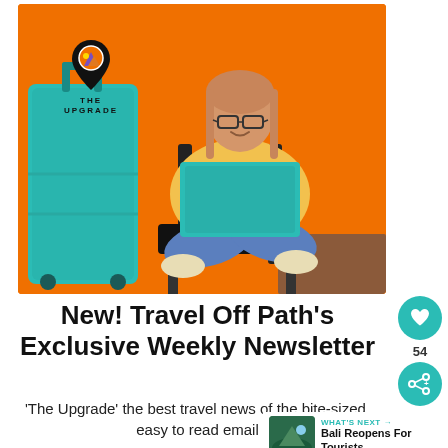[Figure (photo): Hero image: woman with glasses sitting cross-legged on an airport chair with a teal laptop, next to a teal suitcase, against an orange background. The Upgrade logo (location pin with purple/orange mountain scene) is visible top-left of the image.]
New! Travel Off Path's Exclusive Weekly Newsletter
'The Upgrade' the best travel news of the bite-sized, easy to read email